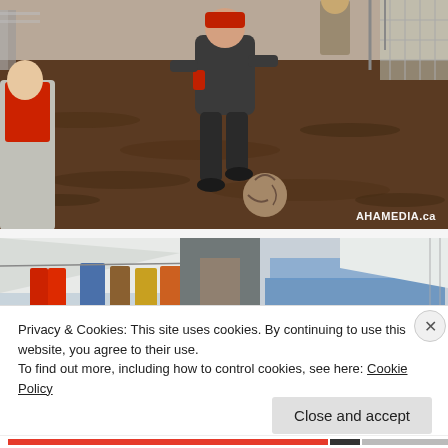[Figure (photo): People playing soccer/football on a muddy dirt field. A person in a dark jacket is kicking a dirty ball. Another person in red is visible on the left. Metal fencing and bare trees in the background. Watermark reads AHAMEDIA.ca in bottom right.]
[Figure (photo): Partial view of a refugee or temporary camp with tents and laundry hanging on lines. Blue and white tents visible in background. Colorful clothing hanging in foreground.]
Privacy & Cookies: This site uses cookies. By continuing to use this website, you agree to their use.
To find out more, including how to control cookies, see here: Cookie Policy
Close and accept